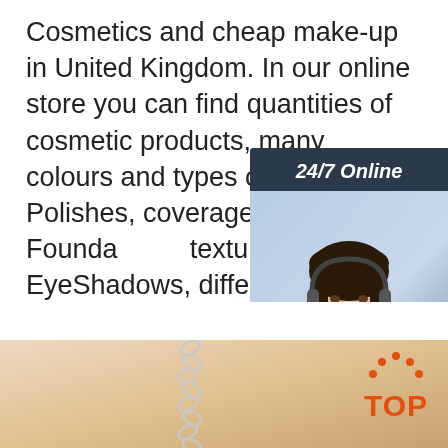Cosmetics and cheap make-up in United Kingdom. In our online store you can find quantities of cosmetic products, many colours and types of Nail Polishes, coverage and smooth Foundations, texture of EyeShadows, different types of long-lasting Mascara, Blusher, Lip Balm and Lipsticks, a lot of Make-up ...
[Figure (photo): Customer service representative with headset, smiling, with '24/7 Online' header, 'Click here for free chat!' text, and 'QUOTATION' orange button on dark navy background widget]
Get Price
[Figure (photo): Bottom strip showing jewelry chains on a warm beige/tan background, with a red 'TOP' icon with dots in upper right corner]